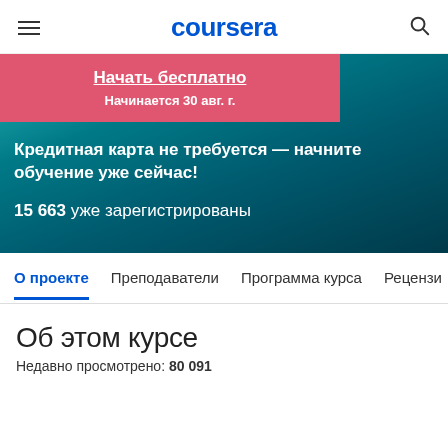coursera
Начать бесплатно
Начинается 30 авг. г.
Кредитная карта не требуется — начните обучение уже сейчас!
15 663 уже зарегистрированы
О проекте  Преподаватели  Программа курса  Рецензии
Об этом курсе
Недавно просмотрено: 80 091